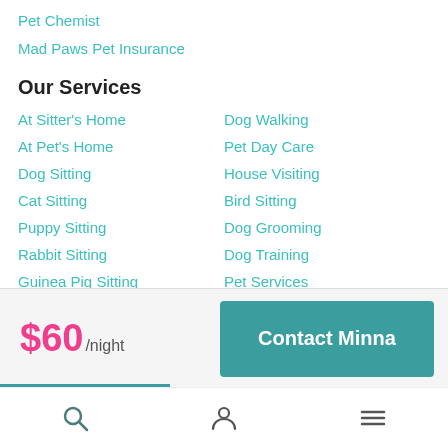Pet Chemist
Mad Paws Pet Insurance
Our Services
At Sitter's Home
Dog Walking
At Pet's Home
Pet Day Care
Dog Sitting
House Visiting
Cat Sitting
Bird Sitting
Puppy Sitting
Dog Grooming
Rabbit Sitting
Dog Training
Guinea Pig Sitting
Pet Services
Dog Kennels
Dog Boarding
House Sitting
$60/night
Contact Minna